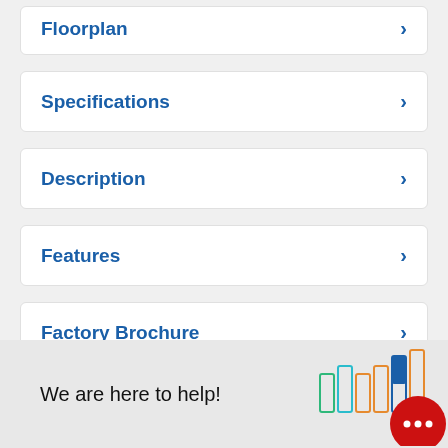Floorplan
Specifications
Description
Features
Factory Brochure
We are here to help!